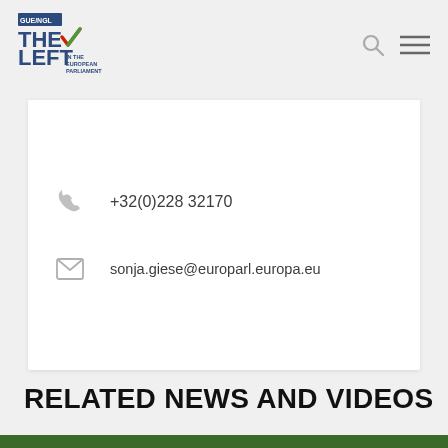GUE/NGL THE LEFT IN THE EUROPEAN PARLIAMENT
+32(0)228 32170
sonja.giese@europarl.europa.eu
RELATED NEWS AND VIDEOS